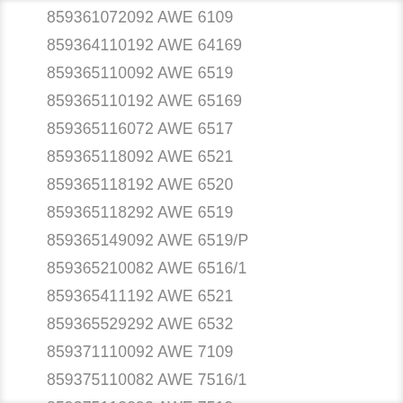859361072092 AWE 6109
859364110192 AWE 64169
859365110092 AWE 6519
859365110192 AWE 65169
859365116072 AWE 6517
859365118092 AWE 6521
859365118192 AWE 6520
859365118292 AWE 6519
859365149092 AWE 6519/P
859365210082 AWE 6516/1
859365411192 AWE 6521
859365529292 AWE 6532
859371110092 AWE 7109
859375110082 AWE 7516/1
859375110092 AWE 7519
858354140092 WAED 5419
858365103082 WAT Care 20
858080010000 LOE 5809
858080110000 LOE 5109
858091829900 FL 1479
858300138800 WAK 4312
859233115203 AWOD 5726
859234215100 AWOD 6120